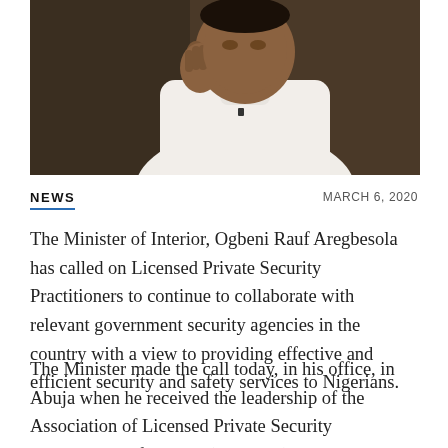[Figure (photo): A man in a white traditional Nigerian outfit, partially cropped, with dark background]
NEWS
MARCH 6, 2020
The Minister of Interior, Ogbeni Rauf Aregbesola has called on Licensed Private Security Practitioners to continue to collaborate with relevant government security agencies in the country with a view to providing effective and efficient security and safety services to Nigerians.
The Minister made the call today, in his office, in Abuja when he received the leadership of the Association of Licensed Private Security Practitioners of Nigeria (ALPSPN), led by its National President, Barr Wilson